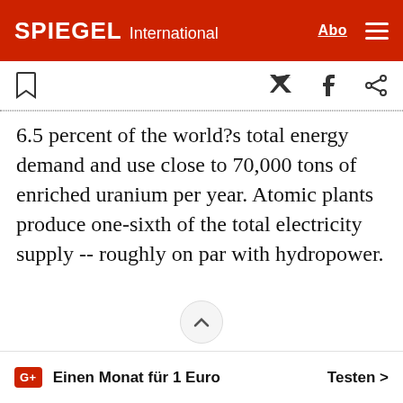SPIEGEL International
6.5 percent of the world’s total energy demand and use close to 70,000 tons of enriched uranium per year. Atomic plants produce one-sixth of the total electricity supply -- roughly on par with hydropower.
Einen Monat für 1 Euro   Testen >